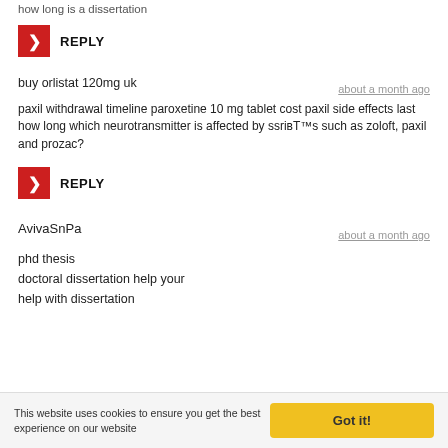how long is a dissertation
REPLY
buy orlistat 120mg uk
about a month ago
paxil withdrawal timeline paroxetine 10 mg tablet cost paxil side effects last how long which neurotransmitter is affected by ssriвЂ™s such as zoloft, paxil and prozac?
REPLY
AvivaSnPa
about a month ago
phd thesis
doctoral dissertation help your
help with dissertation
This website uses cookies to ensure you get the best experience on our website
Got it!